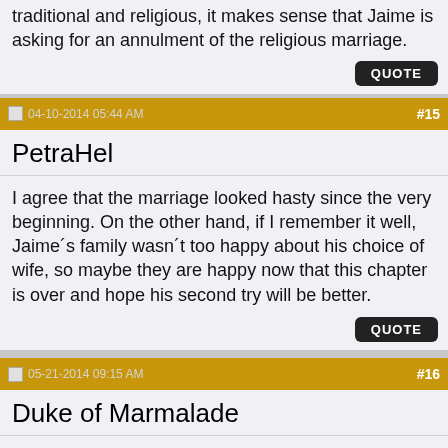traditional and religious, it makes sense that Jaime is asking for an annulment of the religious marriage.
QUOTE
04-10-2014 05:44 AM
#15
PetraHel
I agree that the marriage looked hasty since the very beginning. On the other hand, if I remember it well, Jaime´s family wasn´t too happy about his choice of wife, so maybe they are happy now that this chapter is over and hope his second try will be better.
QUOTE
05-21-2014 09:15 AM
#16
Duke of Marmalade
http://www.ecestaticos.com/imagestat...ime=1400652691
After signing the divorce papers, Jaime del Burgo & Telma Ortiz give their marriage another try.
Telma Ortiz y Jaime del Burgo &#039;anulan&#039; su divorcio y se dan una enésima oportunidad - Noticias de Noticias